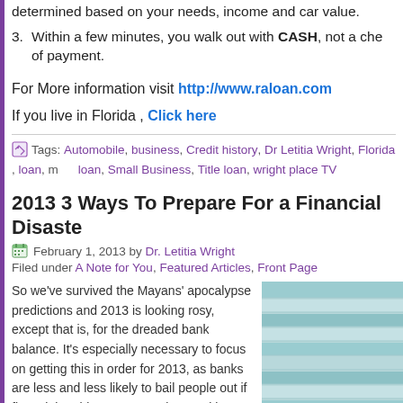determined based on your needs, income and car value.
3. Within a few minutes, you walk out with CASH, not a check or other form of payment.
For More information visit http://www.raloan.com
If you live in Florida , Click here
Tags: Automobile, business, Credit history, Dr Letitia Wright, Florida, loan, m loan, Small Business, Title loan, wright place TV
2013 3 Ways To Prepare For a Financial Disaste
February 1, 2013 by Dr. Letitia Wright
Filed under A Note for You, Featured Articles, Front Page
So we've survived the Mayans' apocalypse predictions and 2013 is looking rosy, except that is, for the dreaded bank balance. It's especially necessary to focus on getting this in order for 2013, as banks are less and less likely to bail people out if financial problems are growing. Tackle your financial worries early and follow
[Figure (photo): Photo of venetian blinds in blue/teal tones]